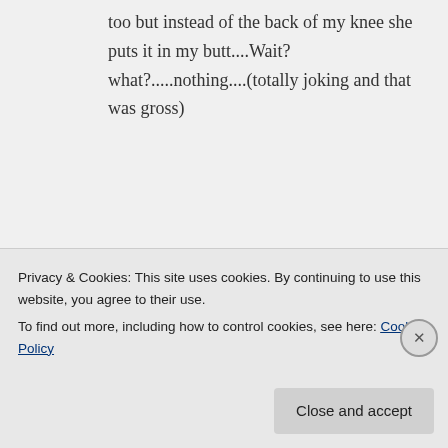too but instead of the back of my knee she puts it in my butt....Wait? what?.....nothing....(totally joking and that was gross)
Like
Sharn on May 28, 2014 at 12:54 am
Bwahahahaha
Privacy & Cookies: This site uses cookies. By continuing to use this website, you agree to their use.
To find out more, including how to control cookies, see here: Cookie Policy
Close and accept